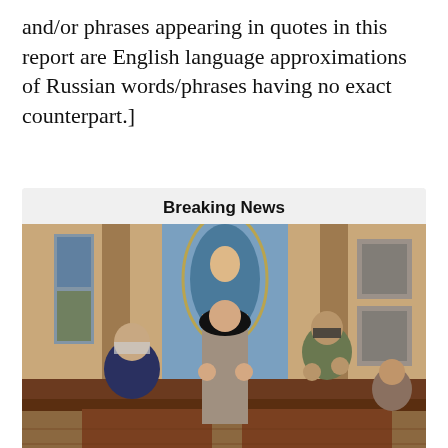and/or phrases appearing in quotes in this report are English language approximations of Russian words/phrases having no exact counterpart.]
Breaking News
[Figure (photo): People wearing masks praying inside a church with religious murals and stained glass in the background. A nun in habit stands in the center.]
New order from Newsom: Singing in houses of worship banned as pandemic worsens
Updated guidelines issued Wednesday by the California Department of Public Health ban singing and chanting